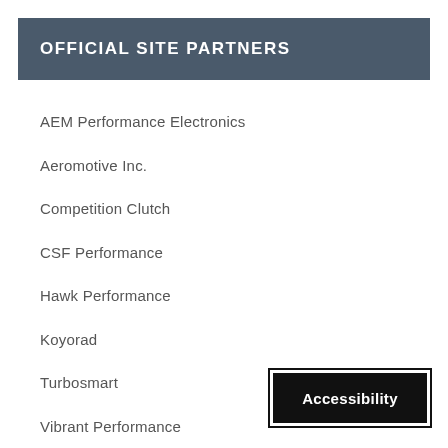OFFICIAL SITE PARTNERS
AEM Performance Electronics
Aeromotive Inc.
Competition Clutch
CSF Performance
Hawk Performance
Koyorad
Turbosmart
Vibrant Performance
Accessibility